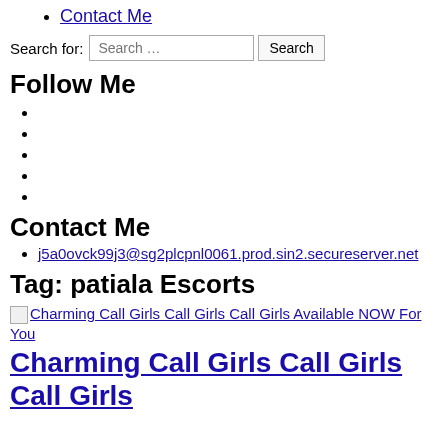Contact Me
Search for: Search …  Search
Follow Me
Contact Me
j5a0ovck99j3@sg2plcpnl0061.prod.sin2.secureserver.net
Tag: patiala Escorts
Charming Call Girls Call Girls Call Girls Available NOW For You
Charming Call Girls Call Girls Call Girls